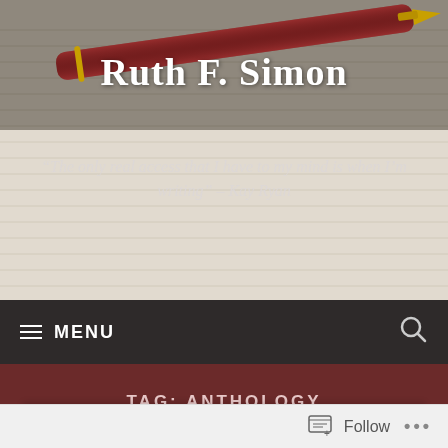[Figure (photo): Header image of a fountain pen resting on a lined notebook, with overlay text showing the blog title and a quote about writing]
Ruth F. Simon
“The only real access that I have to my mind is when I’m writing” – Kay Ryan
MENU
TAG: ANTHOLOGY
Follow